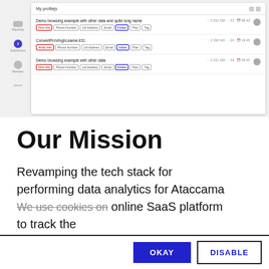[Figure (screenshot): App UI screenshot showing a profile listing page with sidebar navigation (Reporting, Submissions, Members) and three profile rows, each with name, tags (First Info, Phone Number, UA Address, Email, Follow, Plan, Tag), metadata counts, and avatar icons.]
Our Mission
Revamping the tech stack for performing data analytics for Ataccama ONE, an online SaaS platform to track the website usage and user
We use cookies on online SaaS platform to track the website usage and user
[Figure (screenshot): Cookie consent banner with OKAY (blue) and DISABLE (outlined) buttons]